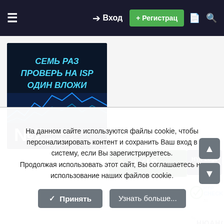≡  → Вход  + Регистрация
[Figure (illustration): Dark blue ad banner: СЕМЬ РАЗ ПРОВЕРЬ НА ISP ОДИН ВЛОЖИ №2 ПРАВИЛО ИНВЕСТОРА with stock chart wave graphic]
[Figure (logo): $ HYIP green banner logo]
[Figure (logo): HYIPLogs.com dark blue banner logo]
[Figure (logo): HYIP CHECK.ru logo on white background]
[Figure (logo): % НЮАНС logo on white background]
На данном сайте используются файлы cookie, чтобы персонализировать контент и сохранить Ваш вход в систему, если Вы зарегистрируетесь.
Продолжая использовать этот сайт, Вы соглашаетесь на использование наших файлов cookie.
✓ Принять
Узнать больше...